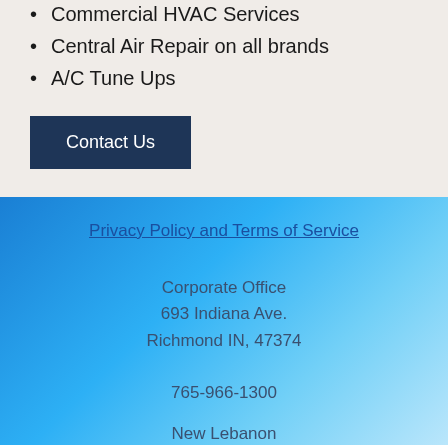Commercial HVAC Services
Central Air Repair on all brands
A/C Tune Ups
Contact Us
Privacy Policy and Terms of Service
Corporate Office
693 Indiana Ave.
Richmond IN, 47374
765-966-1300
New Lebanon
38 W Main St
New Lebanon, OH 45345